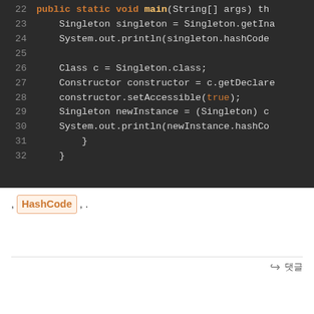[Figure (screenshot): Dark-themed code editor screenshot showing Java code lines 22-32. Line 22: public static void main(String[] args) th... Line 23: Singleton singleton = Singleton.getIna... Line 24: System.out.println(singleton.hashCode... Line 25: (blank) Line 26: Class c = Singleton.class; Line 27: Constructor constructor = c.getDeclare... Line 28: constructor.setAccessible(true); Line 29: Singleton newInstance = (Singleton) c... Line 30: System.out.println(newInstance.hashCo... Line 31: } Line 32: }]
, HashCode , .